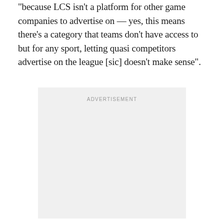“because LCS isn’t a platform for other game companies to advertise on — yes, this means there’s a category that teams don’t have access to but for any sport, letting quasi competitors advertise on the league [sic] doesn’t make sense”.
[Figure (other): Advertisement placeholder box with gray background and centered 'ADVERTISEMENT' label text]